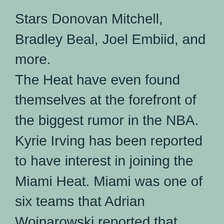Stars Donovan Mitchell, Bradley Beal, Joel Embiid, and more. The Heat have even found themselves at the forefront of the biggest rumor in the NBA. Kyrie Irving has been reported to have interest in joining the Miami Heat. Miami was one of six teams that Adrian Wojnarowski reported that Kyrie listed as a team he would want to play for. While they may be in the running to add a second superstar in Irving, the Heat got more good news in a June 22 statement from Jimmy Butler.
Jimmy Butler Shuts Down